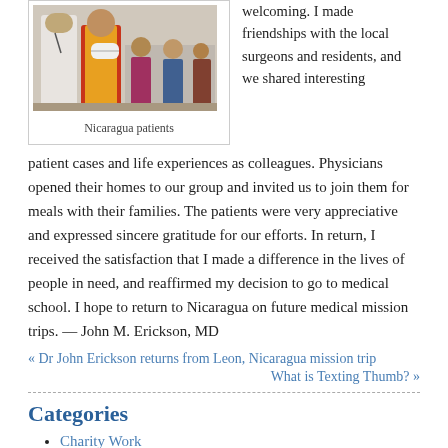[Figure (photo): A medical professional in a white coat standing with a patient wearing a red and yellow outfit with an arm in a sling/cast, other patients seated in background.]
Nicaragua patients
welcoming. I made friendships with the local surgeons and residents, and we shared interesting patient cases and life experiences as colleagues. Physicians opened their homes to our group and invited us to join them for meals with their families. The patients were very appreciative and expressed sincere gratitude for our efforts. In return, I received the satisfaction that I made a difference in the lives of people in need, and reaffirmed my decision to go to medical school. I hope to return to Nicaragua on future medical mission trips. — John M. Erickson, MD
« Dr John Erickson returns from Leon, Nicaragua mission trip
What is Texting Thumb? »
Categories
Charity Work